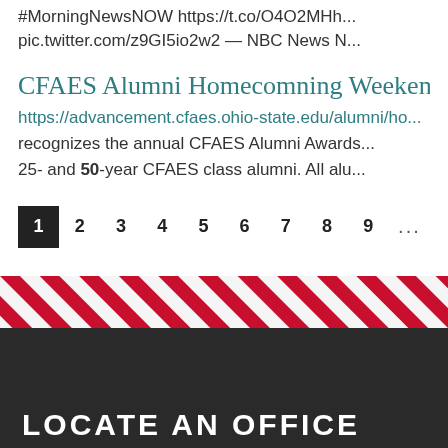#MorningNewsNOW https://t.co/O4O2MHh... pic.twitter.com/z9GI5io2w2 — NBC News N...
CFAES Alumni Homecoming Weekend...
https://advancement.cfaes.ohio-state.edu/alumni/ho... recognizes the annual CFAES Alumni Awards... 25- and 50-year CFAES class alumni. All alu...
Pagination: 1 2 3 4 5 6 7 8 9 ...
[Figure (illustration): Red and white diagonal stripe decorative band]
LOCATE AN OFFICE